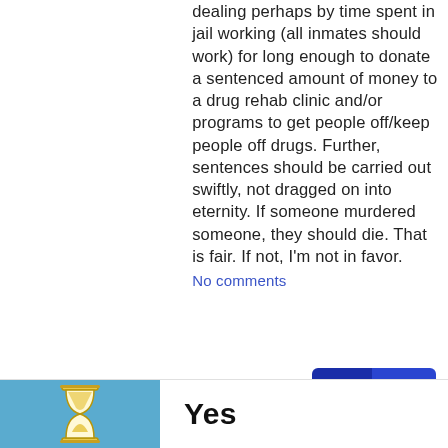dealing perhaps by time spent in jail working (all inmates should work) for long enough to donate a sentenced amount of money to a drug rehab clinic and/or programs to get people off/keep people off drugs. Further, sentences should be carried out swiftly, not dragged on into eternity. If someone murdered someone, they should die. That is fair. If not, I'm not in favor.
No comments
Yes